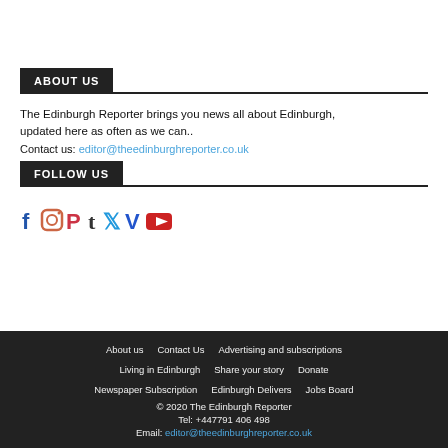ABOUT US
The Edinburgh Reporter brings you news all about Edinburgh, updated here as often as we can..
Contact us: editor@theedinburghreporter.co.uk
FOLLOW US
[Figure (other): Social media icons: Facebook, Instagram, Pinterest, Tumblr, Twitter, Vimeo, YouTube]
About us   Contact Us   Advertising and subscriptions
Living in Edinburgh   Share your story   Donate
Newspaper Subscription   Edinburgh Delivers   Jobs Board
© 2020 The Edinburgh Reporter
Tel: +447791 406 498
Email: editor@theedinburghreporter.co.uk